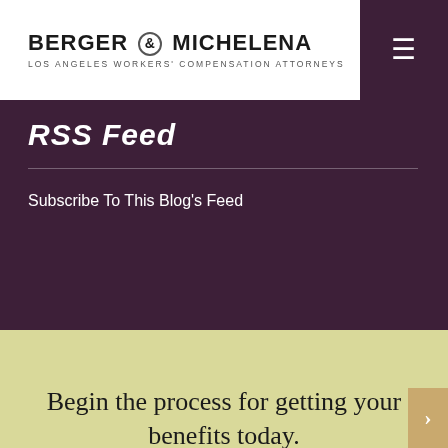BERGER & MICHELENA — LOS ANGELES WORKERS' COMPENSATION ATTORNEYS
RSS Feed
Subscribe To This Blog's Feed
Begin the process for getting your benefits today.
[Figure (photo): Dark background image with a raised fist, partially visible at the bottom of the page]